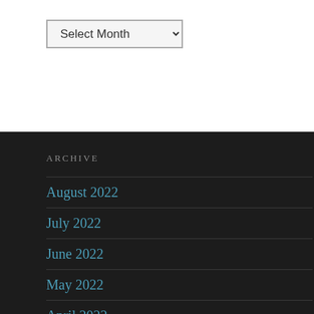Select Month
ARCHIVE
August 2022
July 2022
June 2022
May 2022
April 2022